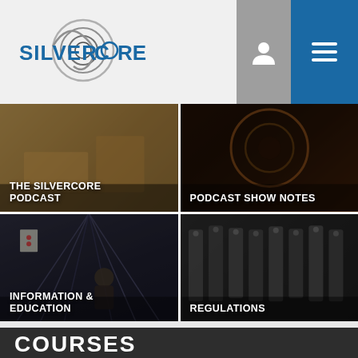[Figure (logo): Silvercore logo with spiral graphic and blue text]
[Figure (screenshot): Navigation buttons: user (grey) and menu (blue)]
[Figure (photo): Card: THE SILVERCORE PODCAST - image of items on wood surface]
[Figure (photo): Card: PODCAST SHOW NOTES - dark circular abstract image]
[Figure (photo): Card: INFORMATION & EDUCATION - shooting range with person and target]
[Figure (photo): Card: REGULATIONS - close-up of firearms/guns lined up]
COURSES